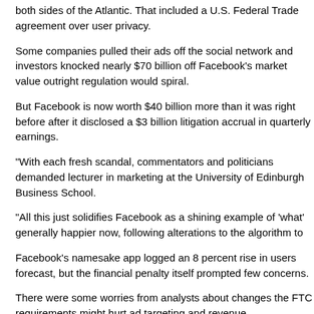both sides of the Atlantic. That included a U.S. Federal Trade agreement over user privacy.
Some companies pulled their ads off the social network and investors knocked nearly $70 billion off Facebook's market value and outright regulation would spiral.
But Facebook is now worth $40 billion more than it was right before after it disclosed a $3 billion litigation accrual in quarterly earnings.
"With each fresh scandal, commentators and politicians demanded lecturer in marketing at the University of Edinburgh Business School.
"All this just solidifies Facebook as a shining example of 'what' generally happier now, following alterations to the algorithm to
Facebook's namesake app logged an 8 percent rise in users forecast, but the financial penalty itself prompted few concerns.
There were some worries from analysts about changes the FTC requirements might hurt ad targeting and revenue.
Facebook founder and Chief Executive Mark Zuckerberg in May